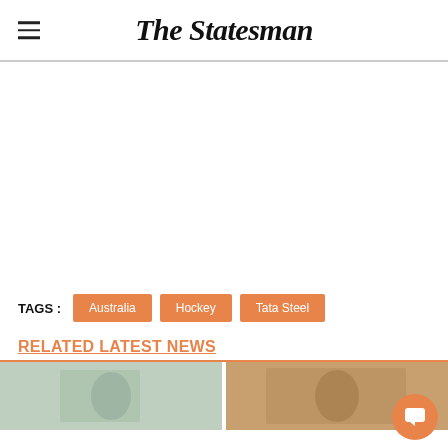The Statesman
TAGS : Australia Hockey Tata Steel
RELATED LATEST NEWS
[Figure (photo): Two news article thumbnail images side by side below the Related Latest News section]
[Figure (other): Orange circular chat/comment button in bottom right corner]